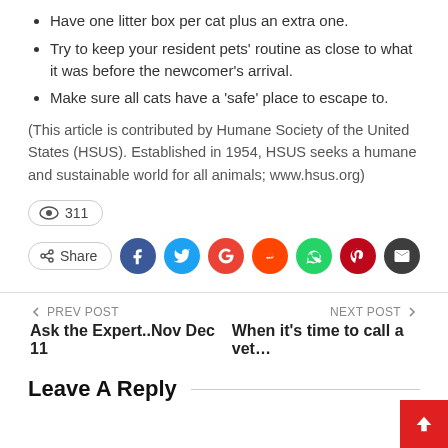Have one litter box per cat plus an extra one.
Try to keep your resident pets' routine as close to what it was before the newcomer's arrival.
Make sure all cats have a 'safe' place to escape to.
(This article is contributed by Humane Society of the United States (HSUS). Established in 1954, HSUS seeks a humane and sustainable world for all animals; www.hsus.org)
311 views
Share — social media icons: Facebook, Twitter, Google, Reddit, WhatsApp, Pinterest, Email
← PREV POST — Ask the Expert..Nov Dec 11
NEXT POST → — When it's time to call a vet...
Leave A Reply